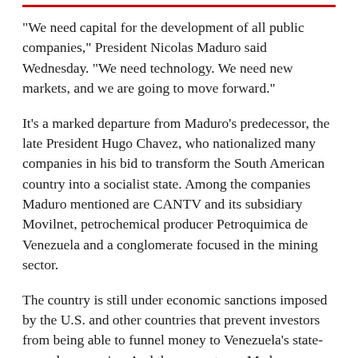"We need capital for the development of all public companies," President Nicolas Maduro said Wednesday. "We need technology. We need new markets, and we are going to move forward."
It's a marked departure from Maduro's predecessor, the late President Hugo Chavez, who nationalized many companies in his bid to transform the South American country into a socialist state. Among the companies Maduro mentioned are CANTV and its subsidiary Movilnet, petrochemical producer Petroquimica de Venezuela and a conglomerate focused in the mining sector.
The country is still under economic sanctions imposed by the U.S. and other countries that prevent investors from being able to funnel money to Venezuela's state-owned companies. And the percentages Maduro announced would not give private investors decision-making powers to